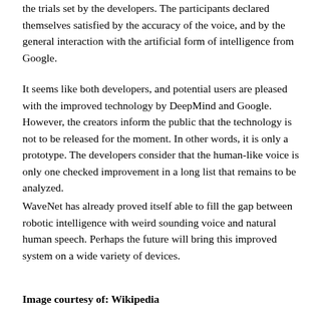the trials set by the developers. The participants declared themselves satisfied by the accuracy of the voice, and by the general interaction with the artificial form of intelligence from Google.
It seems like both developers, and potential users are pleased with the improved technology by DeepMind and Google. However, the creators inform the public that the technology is not to be released for the moment. In other words, it is only a prototype. The developers consider that the human-like voice is only one checked improvement in a long list that remains to be analyzed.
WaveNet has already proved itself able to fill the gap between robotic intelligence with weird sounding voice and natural human speech. Perhaps the future will bring this improved system on a wide variety of devices.
Image courtesy of: Wikipedia